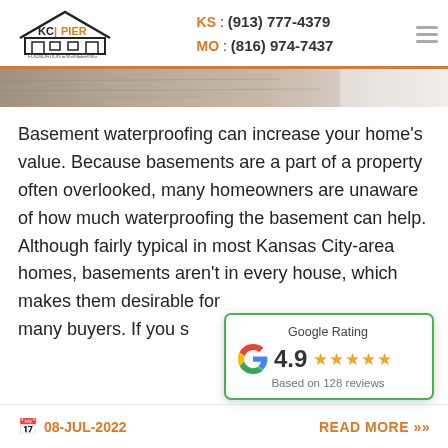KC Pier | KS: (913) 777-4379 | MO: (816) 974-7437
[Figure (photo): Stone/concrete texture hero image strip]
Basement waterproofing can increase your home's value. Because basements are a part of a property often overlooked, many homeowners are unaware of how much waterproofing the basement can help. Although fairly typical in most Kansas City-area homes, basements aren't in every house, which makes them desirable for many buyers. If you s…
[Figure (infographic): Google Rating card showing 4.9 stars based on 128 reviews]
08-JUL-2022
READ MORE »